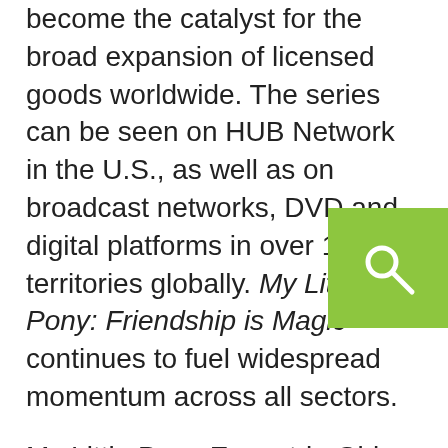become the catalyst for the broad expansion of licensed goods worldwide. The series can be seen on HUB Network in the U.S., as well as on broadcast networks, DVD and digital platforms in over 180 territories globally. My Little Pony: Friendship is Magic continues to fuel widespread momentum across all sectors.
My Little Pony Equestria Girls, a new full-length feature introducing a whole new dimension int world of MY LITTLE PONY, launched this past weekend at The Los Angeles Film Festival. Hasbro Studios has teamed up with Screenvision to bring this feature to theaters across the US and Canada and Shout! Factory plans to release it on DVD later this summer. When a crown is stolen from the Crystal Empire, Twilight Sparkle pursues the thief into an alternate world where she transforms into a teenage girl who must survive her biggest challenge yet.